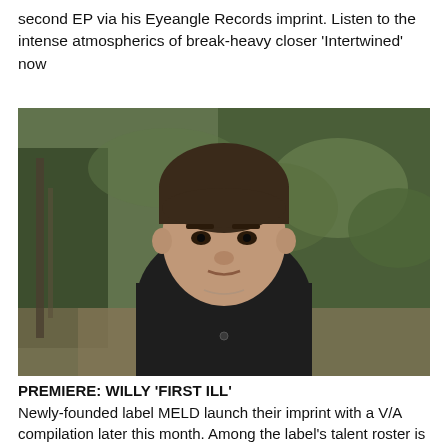second EP via his Eyeangle Records imprint. Listen to the intense atmospherics of break-heavy closer 'Intertwined' now
[Figure (photo): Portrait photo of a young man with short brown hair wearing a dark hoodie, standing outdoors in front of green hedges.]
PREMIERE: WILLY 'FIRST ILL'
Newly-founded label MELD launch their imprint with a V/A compilation later this month. Among the label's talent roster is newcomer, Willy, who provides a dynamic take on UK techno with 'First Ill'